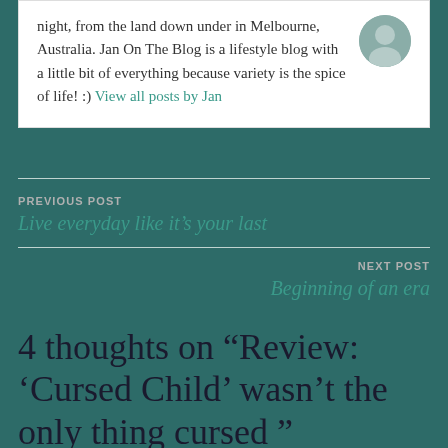night, from the land down under in Melbourne, Australia. Jan On The Blog is a lifestyle blog with a little bit of everything because variety is the spice of life! :) View all posts by Jan
[Figure (photo): Circular avatar/profile photo of blog author Jan, shown in top-right of bio card]
PREVIOUS POST
Live everyday like it's your last
NEXT POST
Beginning of an era
4 thoughts on “Review: ‘Cursed Child’ wasn’t the only thing cursed ”